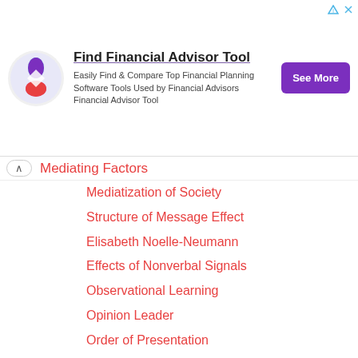[Figure (other): Advertisement banner: Find Financial Advisor Tool with logo, description text, and See More button]
Mediating Factors
Mediatization of Society
Structure of Message Effect
Elisabeth Noelle-Neumann
Effects of Nonverbal Signals
Observational Learning
Opinion Leader
Order of Presentation
Persuasion
Physical Effects of Media Content
Priming Theory
Media Effects on Public Opinion
Reciprocal Effects